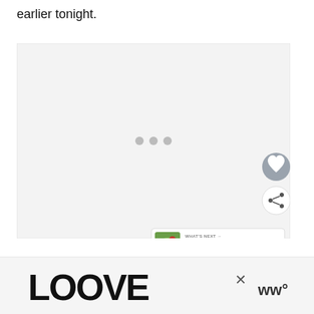earlier tonight.
[Figure (screenshot): A mostly blank video player embed area with three gray loading dots centered in the frame, along with a heart (favorite) button and a share button on the right side, and a 'WHAT'S NEXT' card in the lower right showing 'It's A Bird! A Plane!']
[Figure (screenshot): Bottom advertisement bar showing decorative 'LOOVE' text in black illustrated lettering, a close (x) button, and a 'ww°' brand logo on the right]